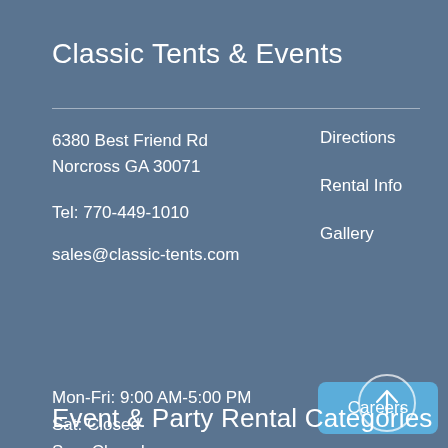Classic Tents & Events
6380 Best Friend Rd
Norcross GA 30071
Directions
Tel: 770-449-1010
Rental Info
sales@classic-tents.com
Gallery
Mon-Fri: 9:00 AM-5:00 PM
Sat: Closed
Sun: Closed
Careers
Event & Party Rental Categories